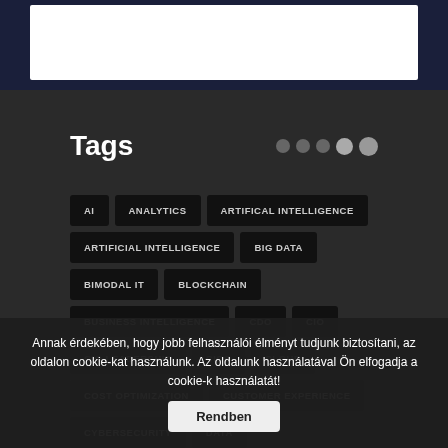[Figure (screenshot): White header/logo bar on dark navy background]
Tags
AI
ANALYTICS
ARTIFICAL INTELLIGENCE
ARTIFICIAL INTELLIGENCE
BIG DATA
BIMODAL IT
BLOCKCHAIN
BUSINESS INTELLIGENCE
CDO
CIO
CIO LEADERSHIP
CIOS
CLOUD
COST OPTIMIZATION
CUSTOMER EXPERIENCE
CYBERSECURITY
DATA
DATA AND ANALYTICS
DIGITAL BUSINESS
DIGITAL RISK MANAGEMENT
DIGITAL TRANSFORMATION
Annak érdekében, hogy jobb felhasználói élményt tudjunk biztosítani, az oldalon cookie-kat használunk. Az oldalunk használatával Ön elfogadja a cookie-k használatát!
Rendben